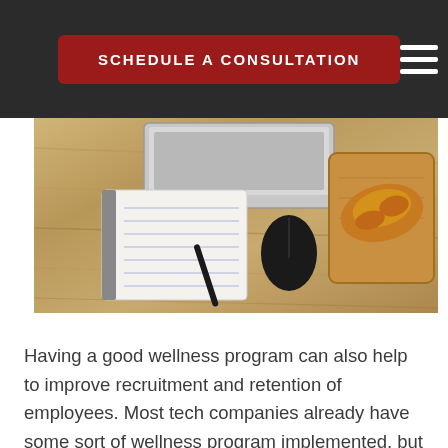SCHEDULE A CONSULTATION
[Figure (photo): Overhead view of a wooden desk with a laptop, spiral notebook with pen, black computer mouse, and a croissant on a wooden cutting board]
Having a good wellness program can also help to improve recruitment and retention of employees. Most tech companies already have some sort of wellness program implemented, but a really good program might tip the scales in your companies favor. Employees might compare wellness programs of differing companies and decide on that alone. Lets not forget to tell you one more different f...